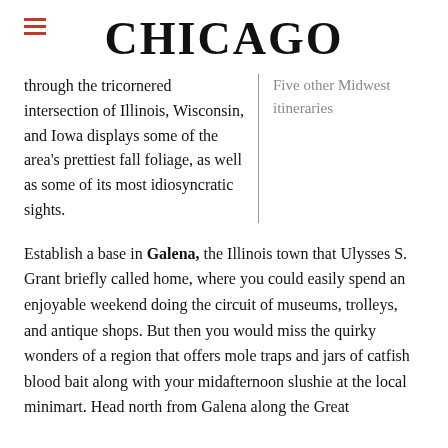CHICAGO
through the tricornered intersection of Illinois, Wisconsin, and Iowa displays some of the area's prettiest fall foliage, as well as some of its most idiosyncratic sights.
Five other Midwest itineraries
Establish a base in Galena, the Illinois town that Ulysses S. Grant briefly called home, where you could easily spend an enjoyable weekend doing the circuit of museums, trolleys, and antique shops. But then you would miss the quirky wonders of a region that offers mole traps and jars of catfish blood bait along with your midafternoon slushie at the local minimart. Head north from Galena along the Great